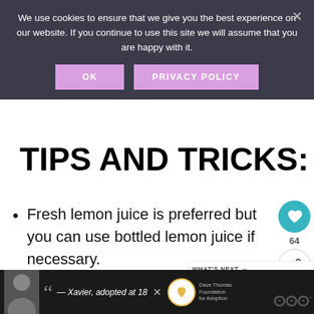We use cookies to ensure that we give you the best experience on our website. If you continue to use this site we will assume that you are happy with it.
OK   PRIVACY POLICY
TIPS AND TRICKS:
Fresh lemon juice is preferred but you can use bottled lemon juice if necessary.
We like to add lemon zest as it gives added flavor but you can omit this only